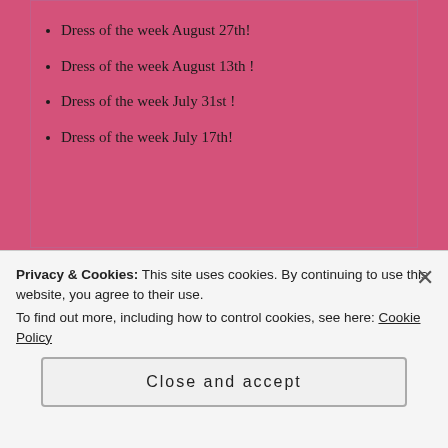Dress of the week August 27th!
Dress of the week August 13th !
Dress of the week July 31st !
Dress of the week July 17th!
[Figure (illustration): Avatar/profile icon for Terrigirl2021 — a blue and white geometric quilt-pattern square]
Terrigirl2021
Dress of the week September 3rd !
Dress of the week August 27th!
Dress of the week August 13th !
Privacy & Cookies: This site uses cookies. By continuing to use this website, you agree to their use.
To find out more, including how to control cookies, see here: Cookie Policy
Close and accept